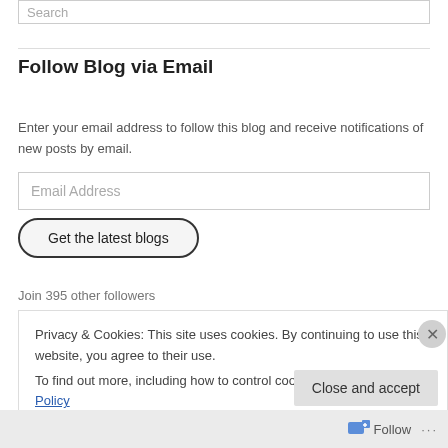Search
Follow Blog via Email
Enter your email address to follow this blog and receive notifications of new posts by email.
Email Address
Get the latest blogs
Join 395 other followers
Privacy & Cookies: This site uses cookies. By continuing to use this website, you agree to their use.
To find out more, including how to control cookies, see here: Cookie Policy
Close and accept
Follow ...